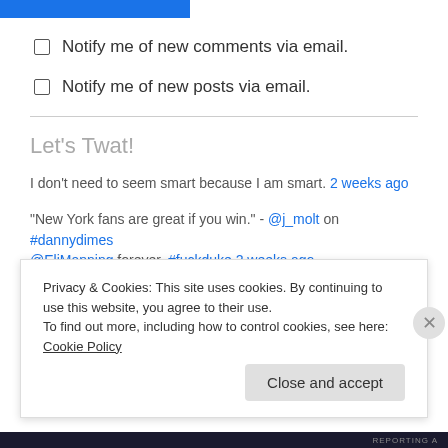[Figure (other): Blue button/bar at top of page]
Notify me of new comments via email.
Notify me of new posts via email.
Let's Twat!
I don't need to seem smart because I am smart. 2 weeks ago
"New York fans are great if you win." - @j_molt on #dannydimes @EliManning forever. #fuckduke 2 weeks ago
"She was my Pink Ranger - I married her when I was in 2nd grade." —
Privacy & Cookies: This site uses cookies. By continuing to use this website, you agree to their use.
To find out more, including how to control cookies, see here: Cookie Policy
Close and accept